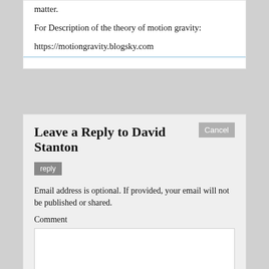matter.
For Description of the theory of motion gravity:
https://motiongravity.blogsky.com
Leave a Reply to David Stanton
Cancel reply
Email address is optional. If provided, your email will not be published or shared.
Comment